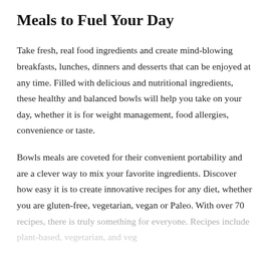Meals to Fuel Your Day
Take fresh, real food ingredients and create mind-blowing breakfasts, lunches, dinners and desserts that can be enjoyed at any time. Filled with delicious and nutritional ingredients, these healthy and balanced bowls will help you take on your day, whether it is for weight management, food allergies, convenience or taste.
Bowls meals are coveted for their convenient portability and are a clever way to mix your favorite ingredients. Discover how easy it is to create innovative recipes for any diet, whether you are gluten-free, vegetarian, vegan or Paleo. With over 70 recipes, there is truly something for everyone. Recipes include plant-based, vegetarian, and vegan...